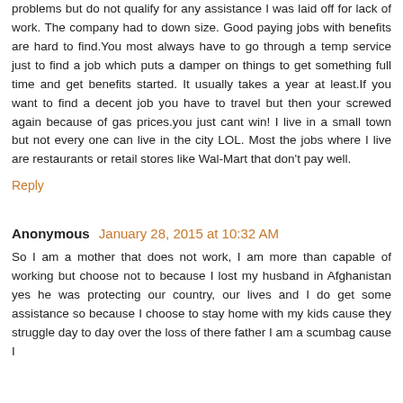problems but do not qualify for any assistance I was laid off for lack of work. The company had to down size. Good paying jobs with benefits are hard to find.You most always have to go through a temp service just to find a job which puts a damper on things to get something full time and get benefits started. It usually takes a year at least.If you want to find a decent job you have to travel but then your screwed again because of gas prices.you just cant win! I live in a small town but not every one can live in the city LOL. Most the jobs where I live are restaurants or retail stores like Wal-Mart that don't pay well.
Reply
Anonymous  January 28, 2015 at 10:32 AM
So I am a mother that does not work, I am more than capable of working but choose not to because I lost my husband in Afghanistan yes he was protecting our country, our lives and I do get some assistance so because I choose to stay home with my kids cause they struggle day to day over the loss of there father I am a scumbag cause I